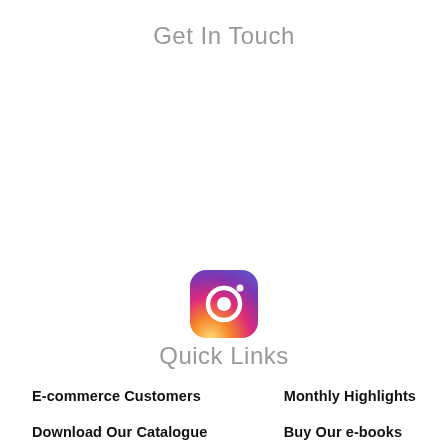Get In Touch
[Figure (logo): Instagram logo icon — rounded square with gradient background (purple to orange) and white camera outline]
Quick Links
E-commerce Customers
Monthly Highlights
Download Our Catalogue
Buy Our e-books